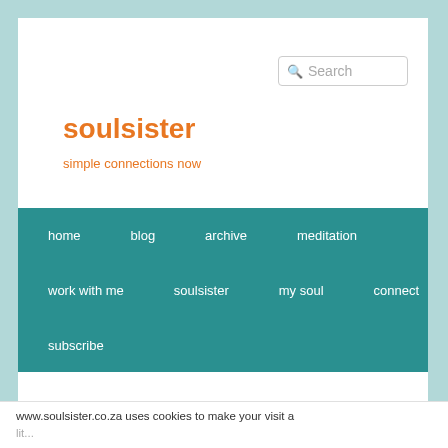[Figure (screenshot): Search box in top right corner of website header]
soulsister
simple connections now
home   blog   archive   meditation   work with me   soulsister   my soul   connect   subscribe
← Previous   Next →
www.soulsister.co.za uses cookies to make your visit a